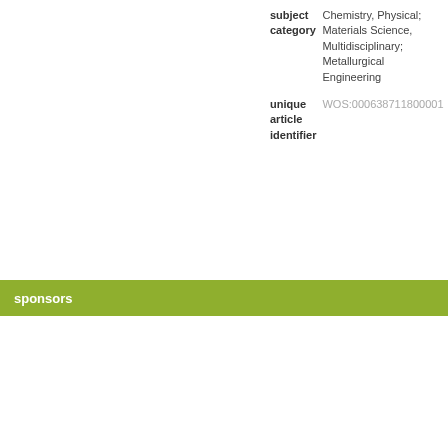| field | value |
| --- | --- |
| subject category | Chemistry, Physical; Materials Science, Multidisciplinary; Metallurgical Engineering |
| unique article identifier | WOS:000638711800001 |
sponsors